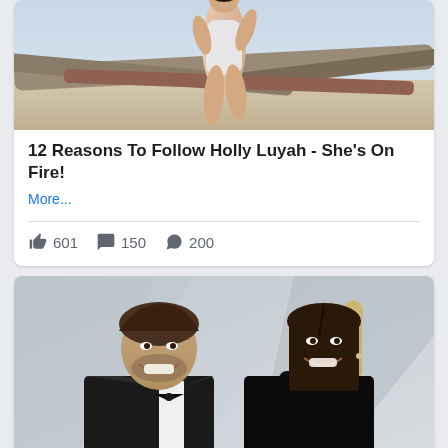[Figure (photo): Woman in white swimsuit posing on driftwood at a beach]
12 Reasons To Follow Holly Luyah - She's On Fire!
More...
601  150  200
[Figure (photo): A man in a tuxedo and a woman in a black turtleneck smiling at an event, posing together]